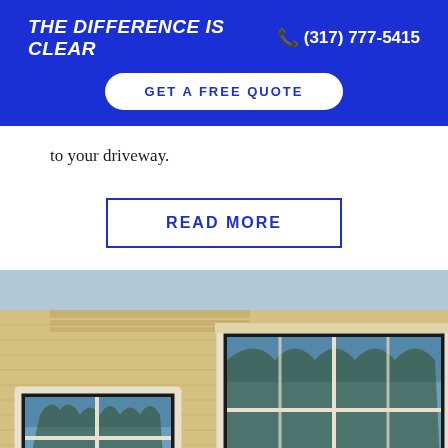THE DIFFERENCE IS CLEAR  (317) 777-5415
GET A FREE QUOTE
to your driveway.
READ MORE
[Figure (photo): Exterior photo of a yellow brick building with large white-framed windows reflecting blue sky and trees, viewed from a low angle.]